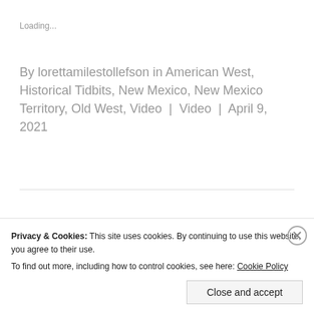Loading...
By lorettamilestollefson in American West, Historical Tidbits, New Mexico, New Mexico Territory, Old West, Video | Video | April 9, 2021
D·l      l
Privacy & Cookies: This site uses cookies. By continuing to use this website, you agree to their use.
To find out more, including how to control cookies, see here: Cookie Policy
Close and accept